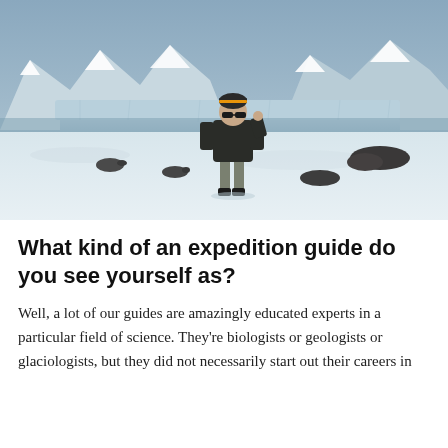[Figure (photo): A person in cold-weather gear (dark jacket, grey pants, goggles/sunglasses, beanie with orange stripe) standing on a snowy Antarctic landscape. In the background are snow-capped mountains, a glacier, and what appear to be seals resting on the ice. The sky is overcast and blue-grey.]
What kind of an expedition guide do you see yourself as?
Well, a lot of our guides are amazingly educated experts in a particular field of science. They’re biologists or geologists or glaciologists, but they did not necessarily start out their careers in